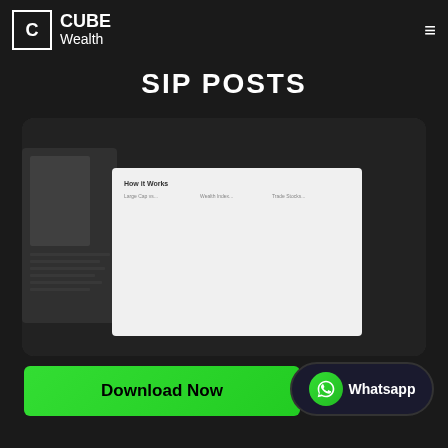CUBE Wealth
SIP Posts
[Figure (screenshot): A laptop screen showing a financial dashboard with multiple charts including line charts, bar charts, area charts, and a donut chart, placed on a dark surface next to a yellow sticky note.]
Download Now
Whatsapp